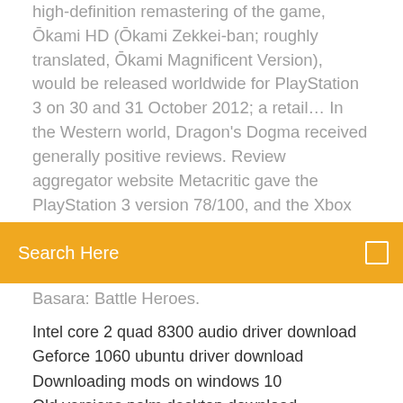high-definition remastering of the game, Ōkami HD (Ōkami Zekkei-ban; roughly translated, Ōkami Magnificent Version), would be released worldwide for PlayStation 3 on 30 and 31 October 2012; a retail… In the Western world, Dragon's Dogma received generally positive reviews. Review aggregator website Metacritic gave the PlayStation 3 version 78/100, and the Xbox
[Figure (screenshot): Orange search bar with placeholder text 'Search Here' and a small square icon on the right]
Basara: Battle Heroes.
Intel core 2 quad 8300 audio driver download
Geforce 1060 ubuntu driver download
Downloading mods on windows 10
Old versions palm desktop download
Fitbit desktop app windows 10 download
Detroit become human demo pc download
Geforce 1060 ubuntu driver download
Jake the snake gif download mp3
2007 transformers full movie download torrent